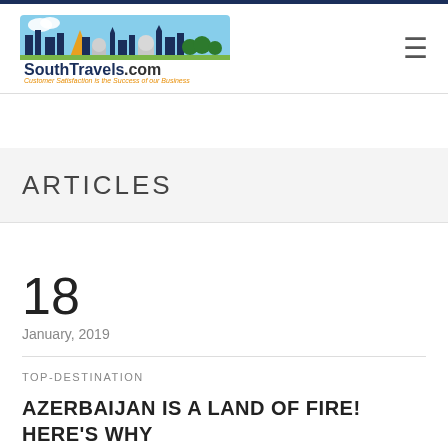[Figure (logo): SouthTravels.com logo with illustrated cityscape and tagline 'Customer Satisfaction is the Success of our Business']
ARTICLES
18
January, 2019
TOP-DESTINATION
AZERBAIJAN IS A LAND OF FIRE! HERE'S WHY